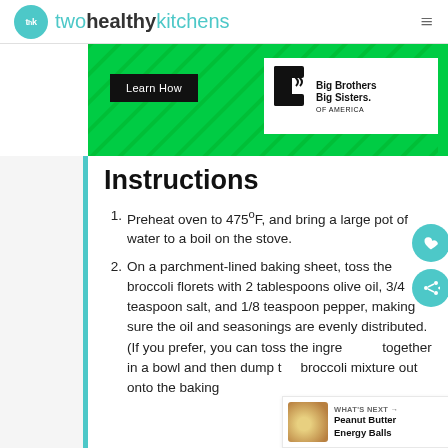twohealthykitchens
[Figure (advertisement): Green banner ad with 'Learn How' button and Big Brothers Big Sisters of America logo]
Instructions
Preheat oven to 475ºF, and bring a large pot of water to a boil on the stove.
On a parchment-lined baking sheet, toss the broccoli florets with 2 tablespoons olive oil, 3/4 teaspoon salt, and 1/8 teaspoon pepper, making sure the oil and seasonings are evenly distributed. (If you prefer, you can toss the ingredients together in a bowl and then dump the broccoli mixture out onto the baking